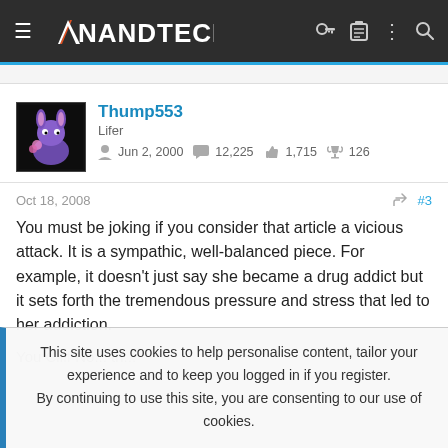AnandTech
Thump553
Lifer
Jun 2, 2000  12,225  1,715  126
Oct 18, 2008  #3
You must be joking if you consider that article a vicious attack. It is a sympathic, well-balanced piece. For example, it doesn't just say she became a drug addict but it sets forth the tremendous pressure and stress that led to her addiction.
This site uses cookies to help personalise content, tailor your experience and to keep you logged in if you register.
By continuing to use this site, you are consenting to our use of cookies.